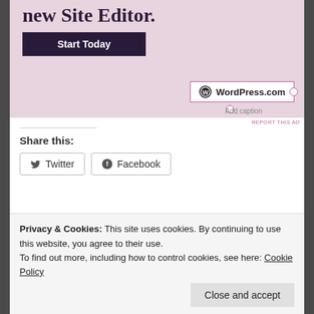[Figure (screenshot): WordPress.com ad banner with pink background showing 'new Site Editor.' text, a dark 'Start Today' button, and a WordPress.com logo with pink border outline and selection handles]
Add caption
REPORT THIS AD
Share this:
Twitter
Facebook
Loading...
March 5, 2016 in Uncategorized. Tags: Arab, Black,
Privacy & Cookies: This site uses cookies. By continuing to use this website, you agree to their use.
To find out more, including how to control cookies, see here: Cookie Policy
Close and accept
Young marriage of Aisha (رضي الله عنها)